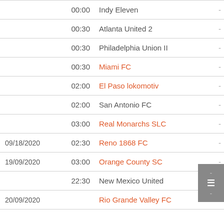| Date | Time | Team | Score |
| --- | --- | --- | --- |
|  | 00:00 | Indy Eleven | - |
|  | 00:30 | Atlanta United 2 | - |
|  | 00:30 | Philadelphia Union II | - |
|  | 00:30 | Miami FC | - |
|  | 02:00 | El Paso lokomotiv | - |
|  | 02:00 | San Antonio FC | - |
|  | 03:00 | Real Monarchs SLC | - |
| 09/18/2020 | 02:30 | Reno 1868 FC | - |
| 19/09/2020 | 03:00 | Orange County SC | - |
|  | 22:30 | New Mexico United | - |
| 20/09/2020 |  | Rio Grande Valley FC | - |